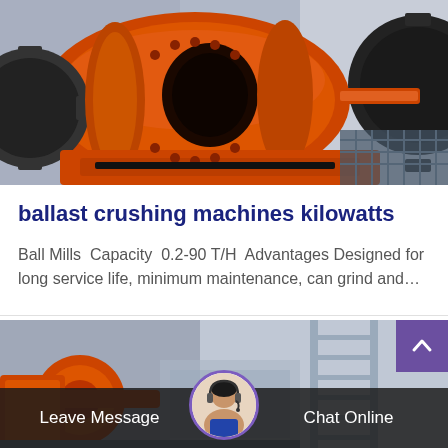[Figure (photo): Close-up photo of large orange ball mill industrial grinding machine with gears and drum visible]
ballast crushing machines kilowatts
Ball Mills  Capacity  0.2-90 T/H  Advantages Designed for long service life, minimum maintenance, can grind and...
[Figure (photo): Partial photo of orange industrial machinery at the bottom of the page]
Leave Message   Chat Online